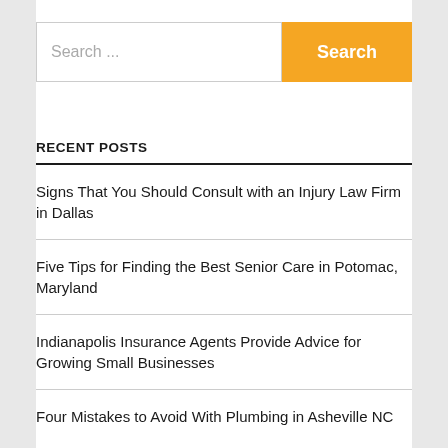[Figure (screenshot): Search input field with placeholder text 'Search ...' and a yellow 'Search' button]
RECENT POSTS
Signs That You Should Consult with an Injury Law Firm in Dallas
Five Tips for Finding the Best Senior Care in Potomac, Maryland
Indianapolis Insurance Agents Provide Advice for Growing Small Businesses
Four Mistakes to Avoid With Plumbing in Asheville NC